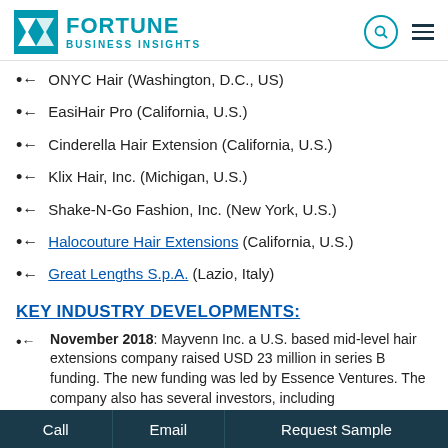Fortune Business Insights
ONYC Hair (Washington, D.C., US)
EasiHair Pro (California, U.S.)
Cinderella Hair Extension (California, U.S.)
Klix Hair, Inc. (Michigan, U.S.)
Shake-N-Go Fashion, Inc. (New York, U.S.)
Halocouture Hair Extensions (California, U.S.)
Great Lengths S.p.A. (Lazio, Italy)
KEY INDUSTRY DEVELOPMENTS:
November 2018: Mayvenn Inc. a U.S. based mid-level hair extensions company raised USD 23 million in series B funding. The new funding was led by Essence Ventures. The company also has several investors, including
Call   Email   Request Sample